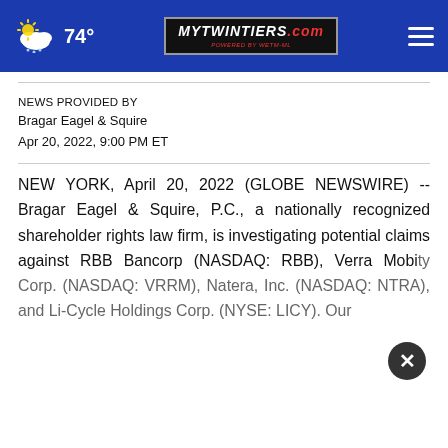74° MYTWINTIERS.COM
NEWS PROVIDED BY
Bragar Eagel & Squire
Apr 20, 2022, 9:00 PM ET
NEW YORK, April 20, 2022 (GLOBE NEWSWIRE) -- Bragar Eagel & Squire, P.C., a nationally recognized shareholder rights law firm, is investigating potential claims against RBB Bancorp (NASDAQ: RBB), Verra Mobility Corp. (NASDAQ: VRRM), Natera, Inc. (NASDAQ: NTRA), and Li-Cycle Holdings Corp. (NYSE: LICY). Our